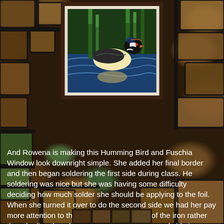[Figure (photo): A stained glass artwork of a wood duck swimming in water with cattails/reeds in the background, framed with a dark brown border, displayed against a mosaic tile background.]
And Rowena is making this Humming Bird and Fuschia Window look downright simple.  She added her final border and then began soldering the first side during class.  He soldering was nice but she was having some difficulty deciding how much solder she should be applying to the foil.  When  she turned it over to do the second side we had her pay more attention to the melted lead at the tip of the iron rather than the line that she's soldering and her second side is looking GREAT!   It's more than halfway finished so this will certainly be completed when she comes back in to class.  I just love to be there to see everything come together for a student.
[Figure (photo): Partial view of another stained glass artwork visible at the bottom of the page.]